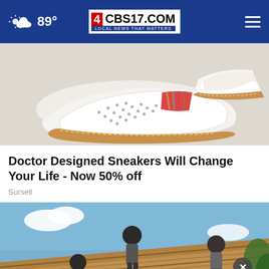89° CBS17.COM LOCAL NEWS THAT MATTERS
[Figure (photo): Close-up photo of white slip-on sneakers with perforated design, tan/cork sole, and colorful striped accent panel]
Doctor Designed Sneakers Will Change Your Life - Now 50% off
Sursell
[Figure (photo): Workers on a roof doing roofing work, exposed wooden roof deck visible, partly cloudy sky in background]
Ashburn OPEN 9AM–6PM 44110 Ashburn Shopping Pla...